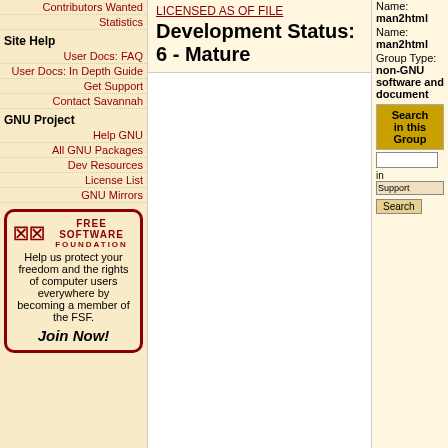Contributors Wanted
Statistics
Site Help
User Docs: FAQ
User Docs: In Depth Guide
Get Support
Contact Savannah
GNU Project
Help GNU
All GNU Packages
Dev Resources
License List
GNU Mirrors
[Figure (logo): Free Software Foundation logo with Join Now! call to action]
Development Status: 6 - Mature
Name: man2html
Name: man2html
Group Type: non-GNU software and document
Search in this Group
in Support
Quick Overview
Project Homepage
Download Area
Project
Latest News
Plans for 4.0.0
posted by kiktajm, Sun 25 May 2003 06:09:50 PM UTC - 0 replies
I'm currently